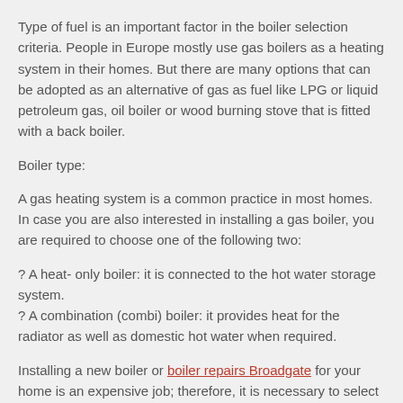Type of fuel is an important factor in the boiler selection criteria. People in Europe mostly use gas boilers as a heating system in their homes. But there are many options that can be adopted as an alternative of gas as fuel like LPG or liquid petroleum gas, oil boiler or wood burning stove that is fitted with a back boiler.
Boiler type:
A gas heating system is a common practice in most homes. In case you are also interested in installing a gas boiler, you are required to choose one of the following two:
? A heat- only boiler: it is connected to the hot water storage system.
? A combination (combi) boiler: it provides heat for the radiator as well as domestic hot water when required.
Installing a new boiler or boiler repairs Broadgate for your home is an expensive job; therefore, it is necessary to select the boiler system wisely. The first thing that you have to understand while purchasing a new boiler system is your requirement according to your home size; a boiler should be sufficient enough for your home. Secondly, a boiler's efficiency is very important to be gauged. If you are using the